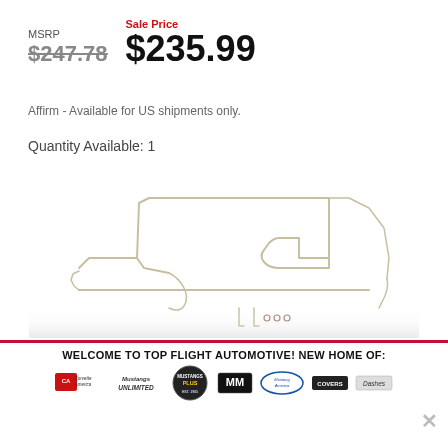MSRP $247.78  Sale Price $235.99
Affirm - Available for US shipments only.
Quantity Available: 1
[Figure (photo): Automotive brake/fuel line kit shown as thin metal tubes arranged on white background]
WELCOME TO TOP FLIGHT AUTOMOTIVE! NEW HOME OF:
[Figure (logo): Row of automotive brand logos: Corvette America, Mustangs Unlimited, Mustangs Plus, Mr. Mustang (MM), Mustang America, Covers, Dashes]